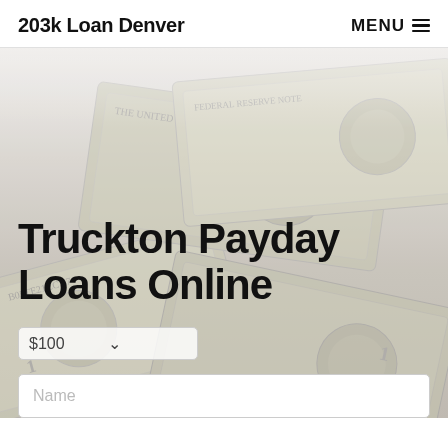203k Loan Denver | MENU
[Figure (photo): Background photo of scattered US dollar bills fanned out, muted/desaturated overlay]
Truckton Payday Loans Online
$100 (dropdown selector)
Name (input field placeholder)